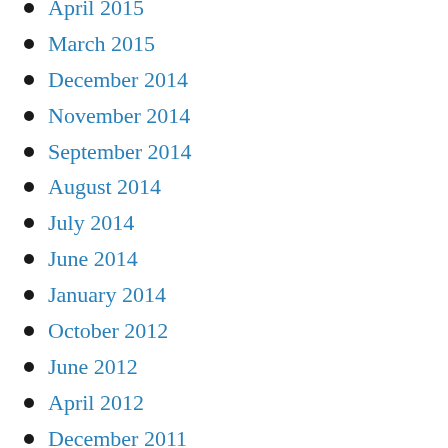April 2015
March 2015
December 2014
November 2014
September 2014
August 2014
July 2014
June 2014
January 2014
October 2012
June 2012
April 2012
December 2011
November 2011
September 2011
July 2011